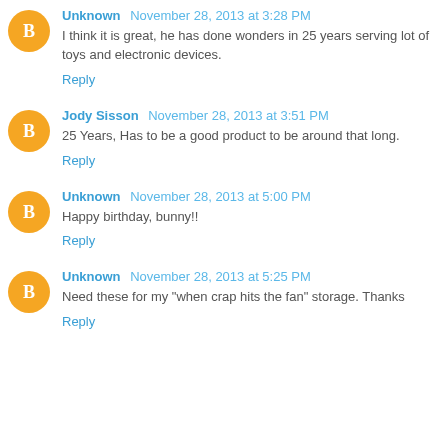Unknown November 28, 2013 at 3:28 PM
I think it is great, he has done wonders in 25 years serving lot of toys and electronic devices.
Reply
Jody Sisson November 28, 2013 at 3:51 PM
25 Years, Has to be a good product to be around that long.
Reply
Unknown November 28, 2013 at 5:00 PM
Happy birthday, bunny!!
Reply
Unknown November 28, 2013 at 5:25 PM
Need these for my "when crap hits the fan" storage. Thanks
Reply